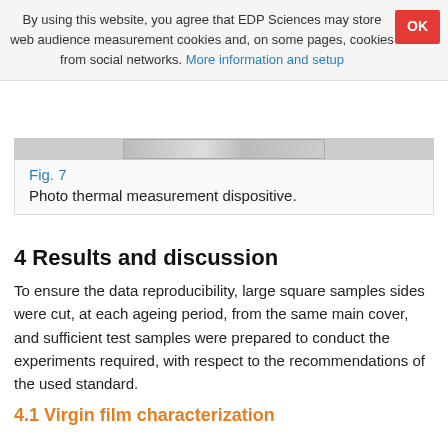By using this website, you agree that EDP Sciences may store web audience measurement cookies and, on some pages, cookies from social networks. More information and setup
[Figure (photo): Partial view of photo thermal measurement dispositive (cropped at top)]
Fig. 7
Photo thermal measurement dispositive.
4 Results and discussion
To ensure the data reproducibility, large square samples sides were cut, at each ageing period, from the same main cover, and sufficient test samples were prepared to conduct the experiments required, with respect to the recommendations of the used standard.
4.1 Virgin film characterization